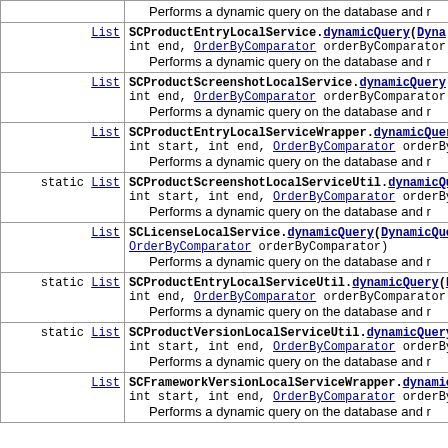| Modifier | Method |
| --- | --- |
| List | SCProductEntryLocalService.dynamicQuery(DynamicQuery, int end, OrderByComparator orderByComparator)
Performs a dynamic query on the database and r |
| List | SCProductScreenshotLocalService.dynamicQuery(DynamicQuery, int end, OrderByComparator orderByComparator)
Performs a dynamic query on the database and r |
| List | SCProductEntryLocalServiceWrapper.dynamicQuery(int start, int end, OrderByComparator orderBy)
Performs a dynamic query on the database and r |
| static List | SCProductScreenshotLocalServiceUtil.dynamicQuery(int start, int end, OrderByComparator orderBy)
Performs a dynamic query on the database and r |
| List | SCLicenseLocalService.dynamicQuery(DynamicQuery, OrderByComparator orderByComparator)
Performs a dynamic query on the database and r |
| static List | SCProductEntryLocalServiceUtil.dynamicQuery(D, int end, OrderByComparator orderByComparator)
Performs a dynamic query on the database and r |
| static List | SCProductVersionLocalServiceUtil.dynamicQuery(int start, int end, OrderByComparator orderBy)
Performs a dynamic query on the database and r |
| List | SCFrameworkVersionLocalServiceWrapper.dynamic(int start, int end, OrderByComparator orderBy)
Performs a dynamic query on the database and r |